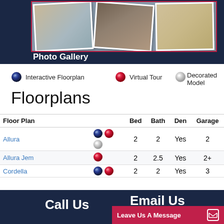[Figure (photo): Photo gallery section showing interior home photos (bedroom, kitchen/countertop, dining room) arranged as polaroid-style overlapping photos against dark blue background]
Photo Gallery
Interactive Floorplan
Virtual Tour
Decorated Model
Floorplans
| Floor Plan |  | Bed | Bath | Den | Garage |
| --- | --- | --- | --- | --- | --- |
| Allura | [icons: dark+red+light] | 2 | 2 | Yes | 2 |
| Allura Jem | [icon: red] | 2 | 2.5 | Yes | 2+ |
| Cordella | [icons: dark+red] | 2 | 2 | Yes | 3 |
Call Us
Email Us
Leave Us A Message